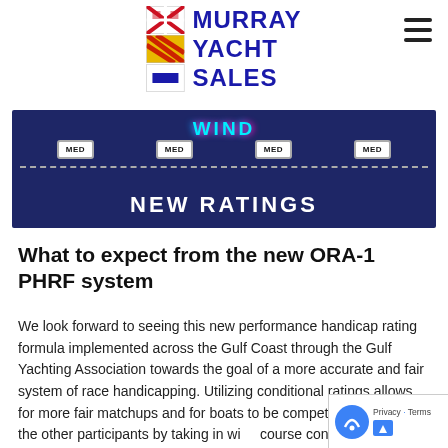[Figure (logo): Murray Yacht Sales logo with Scottish saltire flag, diagonal striped flag, and blue rectangle flag. Text reads MURRAY YACHT SALES in dark blue. Hamburger menu icon top right.]
[Figure (infographic): Dark navy banner with 'WIND' in cyan glowing text at top, four MED boxes arranged horizontally, a dashed horizontal line across the middle, and 'NEW RATINGS' in bold white text at the bottom.]
What to expect from the new ORA-1 PHRF system
We look forward to seeing this new performance handicap rating formula implemented across the Gulf Coast through the Gulf Yachting Association towards the goal of a more accurate and fair system of race handicapping. Utilizing conditional ratings allows for more fair matchups and for boats to be competitive relative to the other participants by taking in wind course conditions that may be more favorable or favorable to each.